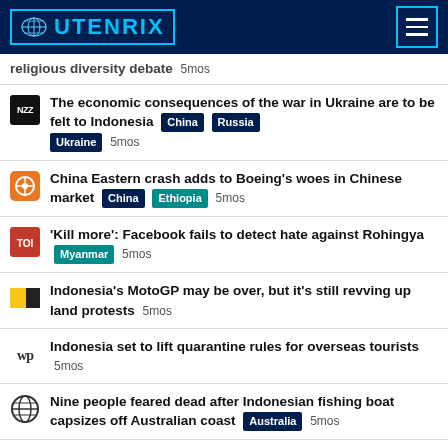UTENRIX
religious diversity debate 5mos
The economic consequences of the war in Ukraine are to be felt to Indonesia [China] [Russia] [Ukraine] 5mos
China Eastern crash adds to Boeing's woes in Chinese market [China] [Ethiopia] 5mos
'Kill more': Facebook fails to detect hate against Rohingya [Myanmar] 5mos
Indonesia's MotoGP may be over, but it's still revving up land protests 5mos
Indonesia set to lift quarantine rules for overseas tourists 5mos
Nine people feared dead after Indonesian fishing boat capsizes off Australian coast [Australia] 5mos
Far from Ukraine, Indonesia's favourite noodles